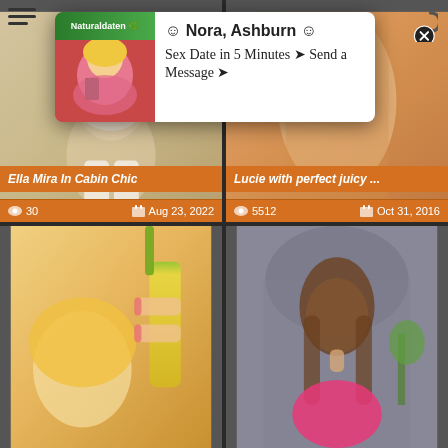[Figure (photo): Popup ad overlay showing a woman in pink top taking a selfie, with logo bar at top reading 'Naturaldaten' and text: ☺ Nora, Ashburn ☺ / Sex Date in 5 Minutes ➤ Send a Message ➤]
☺ Nora, Ashburn ☺
Sex Date in 5 Minutes ➤ Send a Message ➤
[Figure (photo): Thumbnail of woman in lingerie, beige/cream tones. Title: Ella Mira In Cabin Chic. Views: 30. Date: Aug 23, 2022]
Ella Mira In Cabin Chic
30   Aug 23, 2022
[Figure (photo): Thumbnail of close-up orange-toned body shot. Title: Lucie with perfect juicy ... Views: 5512. Date: Oct 31, 2016]
Lucie with perfect juicy ...
5512   Oct 31, 2016
[Figure (photo): Thumbnail of blonde woman with corn, yellow tones]
[Figure (photo): Thumbnail of brunette woman in pink outfit]